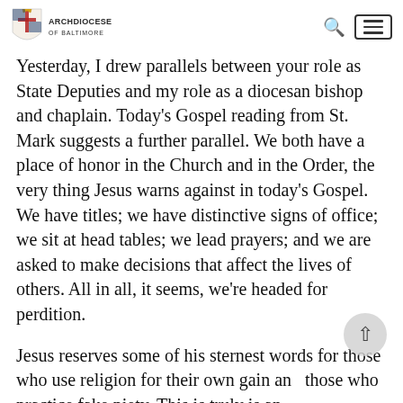Archdiocese of Baltimore
Yesterday, I drew parallels between your role as State Deputies and my role as a diocesan bishop and chaplain. Today's Gospel reading from St. Mark suggests a further parallel. We both have a place of honor in the Church and in the Order, the very thing Jesus warns against in today's Gospel. We have titles; we have distinctive signs of office; we sit at head tables; we lead prayers; and we are asked to make decisions that affect the lives of others. All in all, it seems, we're headed for perdition.
Jesus reserves some of his sternest words for those who use religion for their own gain and those who practice fake piety. This is truly is an